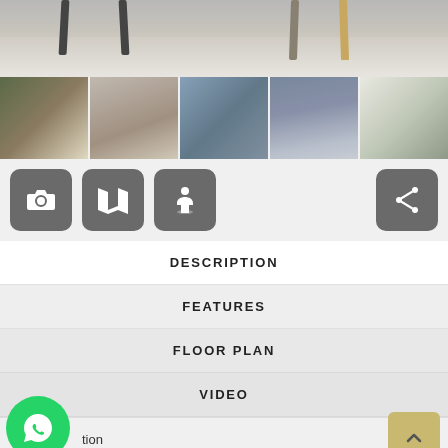[Figure (photo): Hero image showing interior room with chairs and table legs visible at top]
[Figure (photo): Row of 5 thumbnail images showing luxury apartment interiors, living spaces, Dubai skyline]
[Figure (screenshot): Icon button row with camera, map, person/street-view, and share buttons on gray background]
DESCRIPTION
FEATURES
FLOOR PLAN
VIDEO
[Figure (screenshot): WhatsApp green circular button on bottom left, partial text 'tion' visible, back-to-top arrow button on right]
Grande by Emaar Properties